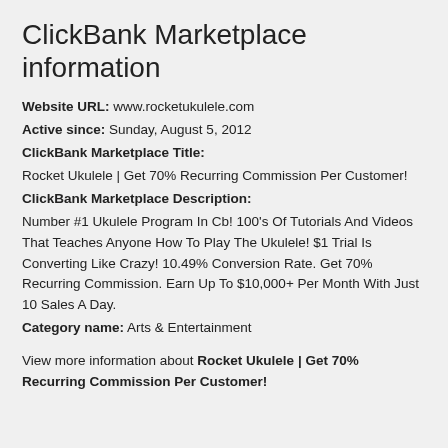ClickBank Marketplace information
Website URL: www.rocketukulele.com
Active since: Sunday, August 5, 2012
ClickBank Marketplace Title:
Rocket Ukulele | Get 70% Recurring Commission Per Customer!
ClickBank Marketplace Description:
Number #1 Ukulele Program In Cb! 100's Of Tutorials And Videos That Teaches Anyone How To Play The Ukulele! $1 Trial Is Converting Like Crazy! 10.49% Conversion Rate. Get 70% Recurring Commission. Earn Up To $10,000+ Per Month With Just 10 Sales A Day.
Category name: Arts & Entertainment
View more information about Rocket Ukulele | Get 70% Recurring Commission Per Customer!